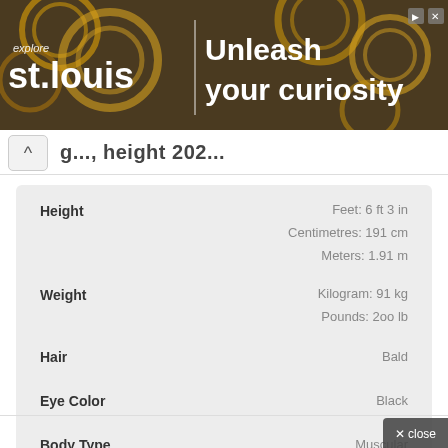[Figure (other): Advertisement banner for explore st.louis - Unleash your curiosity, with gear/mechanical background imagery]
...g..., height 2021
| Attribute | Value |
| --- | --- |
| Height | Feet: 6 ft 3 in
Centimetres: 191 cm
Meters: 1.91 m |
| Weight | Kilogram: 91 kg
Pounds: 2oo lb |
| Hair | Bald |
| Eye Color | Black |
| Body Type | Muscular |
| Sexual Orientation | Straight |